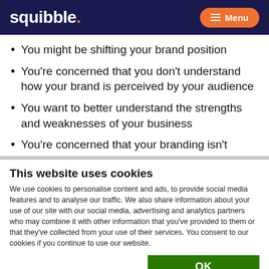squibble. Menu
You might be shifting your brand position
You're concerned that you don't understand how your brand is perceived by your audience
You want to better understand the strengths and weaknesses of your business
You're concerned that your branding isn't
This website uses cookies
We use cookies to personalise content and ads, to provide social media features and to analyse our traffic. We also share information about your use of our site with our social media, advertising and analytics partners who may combine it with other information that you've provided to them or that they've collected from your use of their services. You consent to our cookies if you continue to use our website.
OK
Necessary  Preferences  Statistics  Marketing  Show details